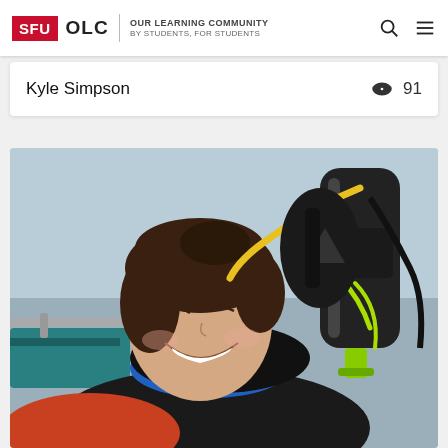SFU OLC | OUR LEARNING COMMUNITY BY STUDENTS, FOR STUDENTS
Kyle Simpson  👁 91
[Figure (photo): A smiling young woman lying back in scuba diving gear (black wetsuit, blue undersuit, SSI BCD with yellow and green accents, hoses and tank visible) on a boat, looking up at the camera. Background shows water and boat interior with teal seating.]